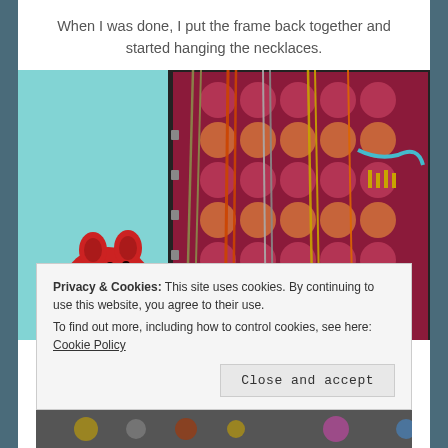When I was done, I put the frame back together and started hanging the necklaces.
[Figure (photo): Photo of necklaces hanging on a decorative frame with a red piggy bank figurine in the lower left corner. The frame has patterned fabric and multiple chains and necklaces are hanging from hooks.]
Privacy & Cookies: This site uses cookies. By continuing to use this website, you agree to their use. To find out more, including how to control cookies, see here: Cookie Policy
Close and accept